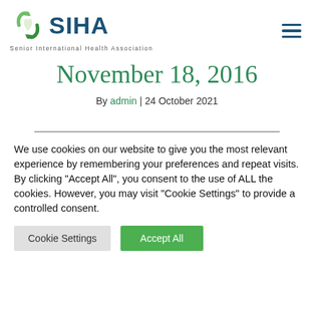[Figure (logo): SIHA - Senior International Health Association logo with green heart icon and dark blue SIHA text]
November 18, 2016
By admin | 24 October 2021
We use cookies on our website to give you the most relevant experience by remembering your preferences and repeat visits. By clicking "Accept All", you consent to the use of ALL the cookies. However, you may visit "Cookie Settings" to provide a controlled consent.
Cookie Settings | Accept All